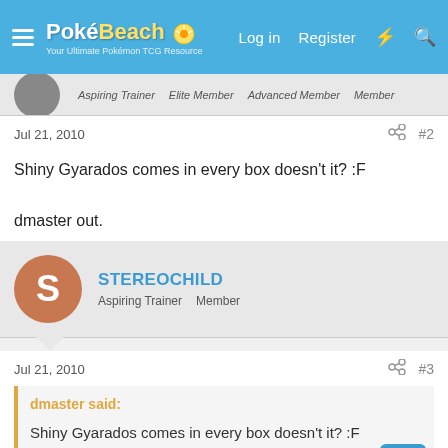PokéBeach — Log in  Register
Aspiring Trainer  Elite Member  Advanced Member  Member
Jul 21, 2010  #2
Shiny Gyarados comes in every box doesn't it? :F

dmaster out.
STEREOCHILD
Aspiring Trainer  Member
Jul 21, 2010  #3
dmaster said:
Shiny Gyarados comes in every box doesn't it? :F

dmaster out.